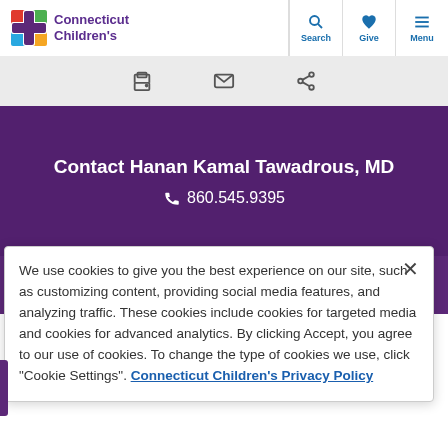[Figure (logo): Connecticut Children's logo with colorful cross icon and purple text]
Search  Give  Menu
[Figure (infographic): Toolbar with print, email, and share icons on a light gray background]
Contact Hanan Kamal Tawadrous, MD
860.545.9395
REQUEST AN APPOINTMENT
We use cookies to give you the best experience on our site, such as customizing content, providing social media features, and analyzing traffic. These cookies include cookies for targeted media and cookies for advanced analytics. By clicking Accept, you agree to our use of cookies. To change the type of cookies we use, click "Cookie Settings". Connecticut Children's Privacy Policy